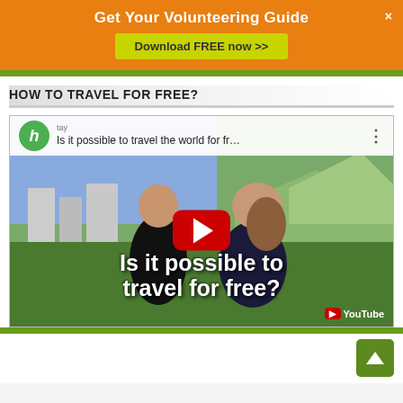Get Your Volunteering Guide
Download FREE now >>
HOW TO TRAVEL FOR FREE?
[Figure (screenshot): YouTube video thumbnail showing two people (a man and a woman) outdoors with mountains and a city in the background. The video title reads 'Is it possible to travel the world for fr...' with overlay text 'Is it possible to travel for free?' and a YouTube play button in the center.]
Is it possible to travel the world for fr...
Is it possible to travel for free?